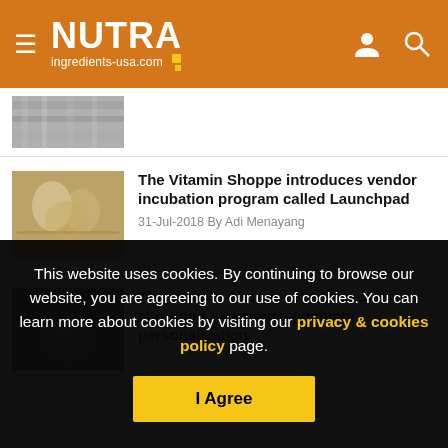NUTRA ingredients-usa.com
[Figure (photo): Partial thumbnail of a product store shelf image at top of page]
The Vitamin Shoppe introduces vendor incubation program called Launchpad
31-Jul-2018 By Adi Menayang
[Figure (photo): Thumbnail of people in a store/shopping environment]
The Vitamin Shoppe refreshes online shopping experience pushing personalization
[Figure (photo): Thumbnail of a person using a mobile phone, dark image]
This website uses cookies. By continuing to browse our website, you are agreeing to our use of cookies. You can learn more about cookies by visiting our privacy & cookies policy page.